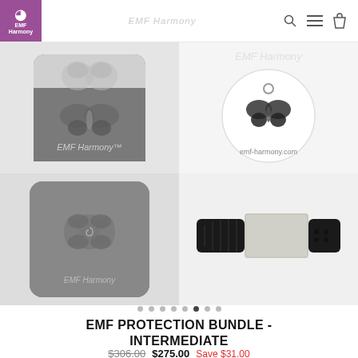EMF Harmony
[Figure (photo): Four product images in a 2x2 grid: top-left shows EMF Harmony sticker/patch product (grey square with butterfly logo and EMF Harmony text), top-right shows round white coin/disc with EMF Harmony watermark and emf-harmony.com text and butterfly charm, bottom-left shows grey square EMF Harmony sticker with flower/spiral logo, bottom-right shows black rubber bracelet with silver metal plate]
EMF PROTECTION BUNDLE - INTERMEDIATE
$306.00  $275.00  Save $31.00